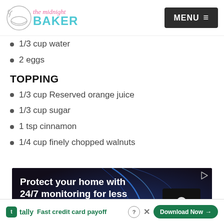The Midnight Baker — MENU
1/3 cup water
2 eggs
TOPPING
1/3 cup Reserved orange juice
1/3 cup sugar
1 tsp cinnamon
1/4 cup finely chopped walnuts
[Figure (screenshot): Advertisement banner: 'Protect your home with 24/7 monitoring for less than $1/day' with a dark background showing blue light streaks and a home security device]
[Figure (screenshot): Bottom ad bar for Tally app: 'Fast credit card payoff' with Download Now button]